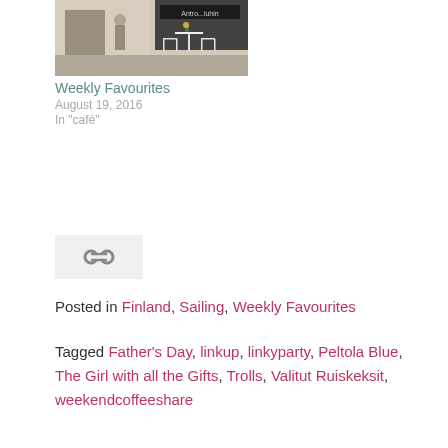[Figure (photo): Outdoor café scene with white table and chairs on a street, with a storefront in the background]
Weekly Favourites
August 19, 2016
In "café"
[Figure (other): Share/link icon button on light grey background]
Posted in Finland, Sailing, Weekly Favourites
Tagged Father's Day, linkup, linkyparty, Peltola Blue, The Girl with all the Gifts, Trolls, Valitut Ruiskeksit, weekendcoffeeshare